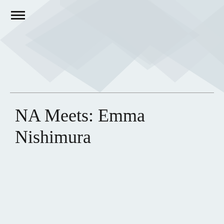[Figure (illustration): Decorative background with two overlapping chevron/arrow shapes in light gray forming an X pattern in the upper center-right area of the page]
NA Meets: Emma Nishimura